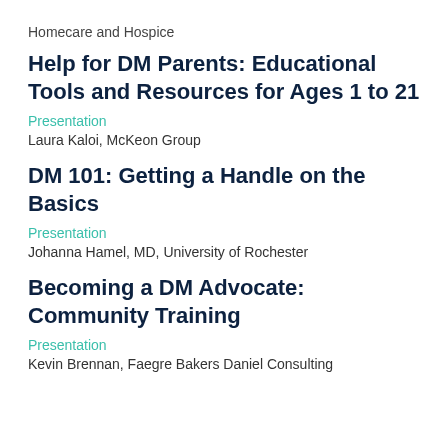Homecare and Hospice
Help for DM Parents: Educational Tools and Resources for Ages 1 to 21
Presentation
Laura Kaloi, McKeon Group
DM 101: Getting a Handle on the Basics
Presentation
Johanna Hamel, MD, University of Rochester
Becoming a DM Advocate: Community Training
Presentation
Kevin Brennan, Faegre Bakers Daniel Consulting